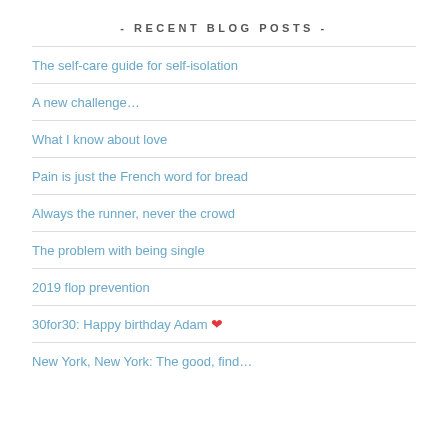- RECENT BLOG POSTS -
The self-care guide for self-isolation
A new challenge…
What I know about love
Pain is just the French word for bread
Always the runner, never the crowd
The problem with being single
2019 flop prevention
30for30: Happy birthday Adam ❤
New York, New York: The good, find…